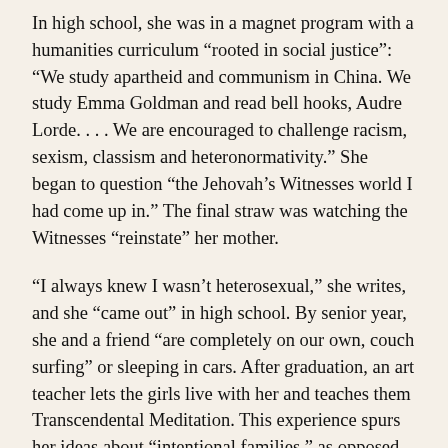In high school, she was in a magnet program with a humanities curriculum “rooted in social justice”: “We study apartheid and communism in China. We study Emma Goldman and read bell hooks, Audre Lorde. . . . We are encouraged to challenge racism, sexism, classism and heteronormativity.” She began to question “the Jehovah’s Witnesses world I had come up in.” The final straw was watching the Witnesses “reinstate” her mother.
“I always knew I wasn’t heterosexual,” she writes, and she “came out” in high school. By senior year, she and a friend “are completely on our own, couch surfing” or sleeping in cars. After graduation, an art teacher lets the girls live with her and teaches them Transcendental Meditation. This experience spurs her ideas about “intentional families,” as opposed to biological ones.
In her senior year of high school, though she “had never